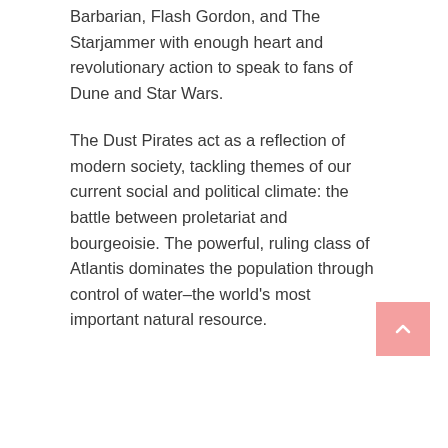Barbarian, Flash Gordon, and The Starjammer with enough heart and revolutionary action to speak to fans of Dune and Star Wars.
The Dust Pirates act as a reflection of modern society, tackling themes of our current social and political climate: the battle between proletariat and bourgeoisie. The powerful, ruling class of Atlantis dominates the population through control of water–the world's most important natural resource.